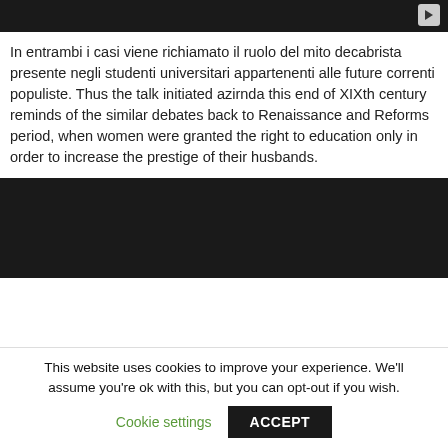[Figure (screenshot): Dark video player thumbnail with play button in top right corner]
In entrambi i casi viene richiamato il ruolo del mito decabrista presente negli studenti universitari appartenenti alle future correnti populiste. Thus the talk initiated azirnda this end of XIXth century reminds of the similar debates back to Renaissance and Reforms period, when women were granted the right to education only in order to increase the prestige of their husbands.
[Figure (screenshot): Dark video player area]
This website uses cookies to improve your experience. We'll assume you're ok with this, but you can opt-out if you wish.
Cookie settings   ACCEPT